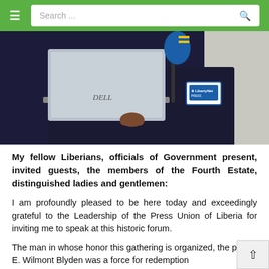≡  Search ...
[Figure (photo): A man in a dark suit with a name badge sits in front of a Dell laptop, with a blue microphone with yellow and blue flag colors visible beside him. Background appears to be an office or conference setting.]
My fellow Liberians, officials of Government present, invited guests, the members of the Fourth Estate, distinguished ladies and gentlemen:
I am profoundly pleased to be here today and exceedingly grateful to the Leadership of the Press Union of Liberia for inviting me to speak at this historic forum.
The man in whose honor this gathering is organized, the prolific E. Wilmont Blyden was a force for redemption